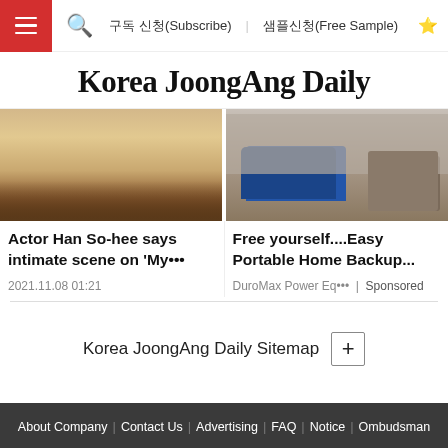구독 신청(Subscribe) | 샘플신청(Free Sample)
Korea JoongAng Daily
[Figure (photo): Close-up of actor Han So-hee's face]
[Figure (photo): Person near a portable generator/truck outdoors]
Actor Han So-hee says intimate scene on 'My…'
2021.11.08 01:21
Free yourself....Easy Portable Home Backup...
DuroMax Power Eq… | Sponsored
Korea JoongAng Daily Sitemap +
About Company | Contact Us | Advertising | FAQ | Notice | Ombudsman